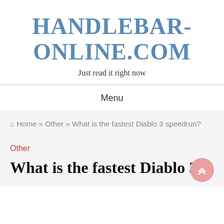HANDLEBAR-ONLINE.COM
Just read it right now
Menu
🏠 Home » Other » What is the fastest Diablo 3 speedrun?
Other
What is the fastest Diablo 3